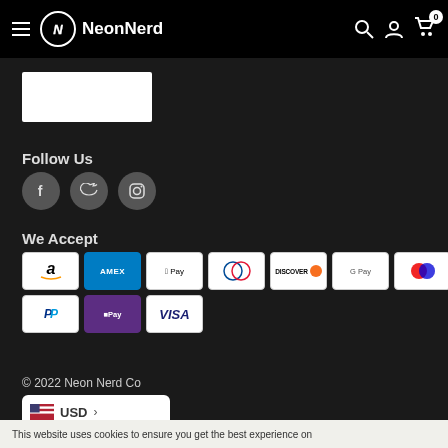NeonNerd
[Figure (logo): White rectangle image placeholder]
Follow Us
[Figure (infographic): Social media icons: Facebook, Twitter, Instagram in grey circles]
We Accept
[Figure (infographic): Payment method icons: Amazon, Amex, Apple Pay, Diners, Discover, Google Pay, Maestro, Mastercard, PayPal, Shop Pay, Visa]
© 2022 Neon Nerd Co
USD >
This website uses cookies to ensure you get the best experience on